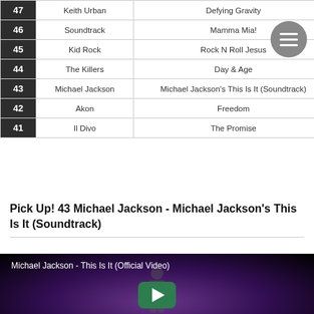| # | Artist | Album |
| --- | --- | --- |
| 47 | Keith Urban | Defying Gravity |
| 46 | Soundtrack | Mamma Mia! |
| 45 | Kid Rock | Rock N Roll Jesus |
| 44 | The Killers | Day & Age |
| 43 | Michael Jackson | Michael Jackson's This Is It (Soundtrack) |
| 42 | Akon | Freedom |
| 41 | Il Divo | The Promise |
Pick Up! 43 Michael Jackson - Michael Jackson's This Is It (Soundtrack)
[Figure (screenshot): YouTube video thumbnail for 'Michael Jackson - This Is It (Official Video)' showing a silhouetted figure on a purple-lit stage with a green play button overlay]